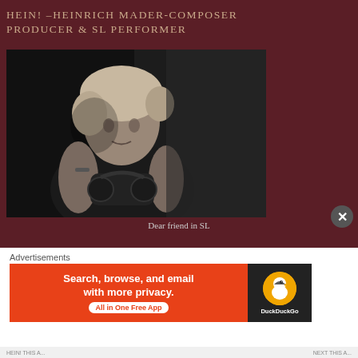HEIN! –HEINRICH MADER-COMPOSER PRODUCER & SL PERFORMER
[Figure (photo): Black and white portrait photograph of a man with medium-length blonde/grey hair wearing a dark t-shirt, holding headphones, posing against a dark background]
Dear friend in SL
Advertisements
[Figure (screenshot): DuckDuckGo advertisement banner with orange/red background. Text reads: Search, browse, and email with more privacy. All in One Free App. DuckDuckGo logo on dark right side.]